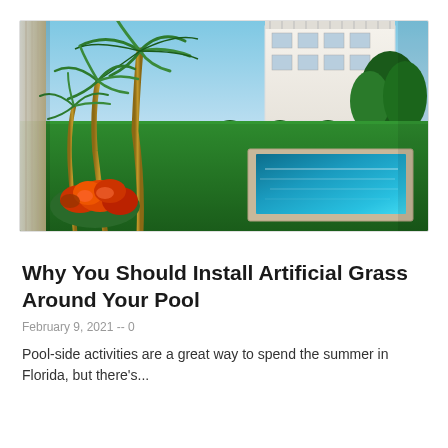[Figure (photo): Outdoor backyard scene with a rectangular swimming pool surrounded by lush green artificial grass, tall palm trees on the left, colorful red tropical plants/flowers, a white building in the background, and shrubbery along the perimeter.]
Why You Should Install Artificial Grass Around Your Pool
February 9, 2021 -- 0
Pool-side activities are a great way to spend the summer in Florida, but there's...